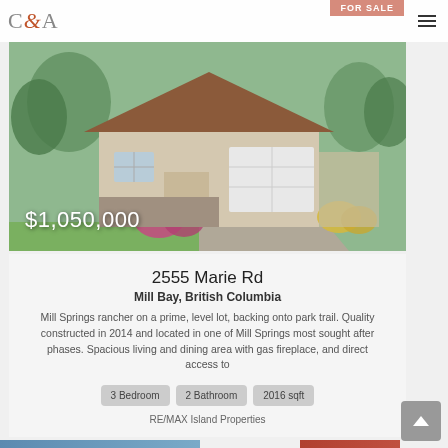C&A
[Figure (photo): Exterior photo of a ranch-style house with brown roof, two-car garage, and landscaped front yard with ornamental shrubs and trees. Price overlay reads $1,050,000.]
2555 Marie Rd
Mill Bay, British Columbia
Mill Springs rancher on a prime, level lot, backing onto park trail. Quality constructed in 2014 and located in one of Mill Springs most sought after phases. Spacious living and dining area with gas fireplace, and direct access to
3 Bedroom
2 Bathroom
2016 sqft
RE/MAX Island Properties